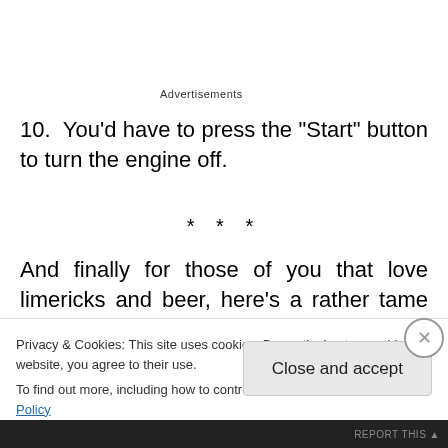Advertisements
10.  You'd have to press the "Start" button to turn the engine off.
* * *
And finally for those of you that love limericks and beer, here's a rather tame one proving once and for all that it's possible for limericks to be funny without being filth
Privacy & Cookies: This site uses cookies. By continuing to use this website, you agree to their use.
To find out more, including how to control cookies, see here: Cookie Policy
Close and accept